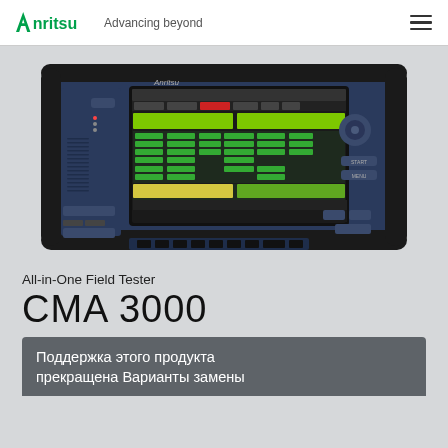Anritsu Advancing beyond
[Figure (photo): Anritsu CMA 3000 All-in-One Field Tester device — a rugged dark blue portable test instrument with a large color touchscreen display showing a green and yellow results screen, various buttons and ports on the front panel.]
All-in-One Field Tester
CMA 3000
Поддержка этого продукта прекращена Варианты замены